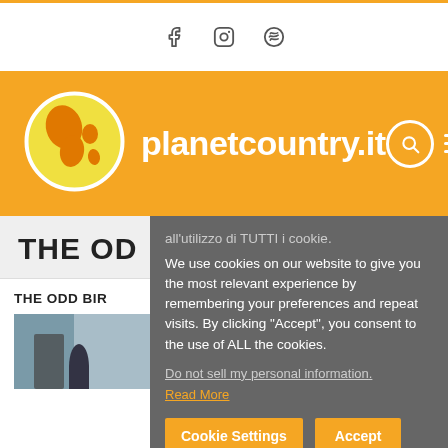Social icons: Facebook, Instagram, Spotify
[Figure (logo): planetcountry.it website header with globe logo, site name, search and hamburger menu icons on orange background]
THE ODD...
THE ODD BIR...
[Figure (photo): Partial photo of a person on street, partially obscured by cookie consent dialog]
all'utilizzo di TUTTI i cookie. We use cookies on our website to give you the most relevant experience by remembering your preferences and repeat visits. By clicking "Accept", you consent to the use of ALL the cookies. Do not sell my personal information. Read More
Cookie Settings | Accept